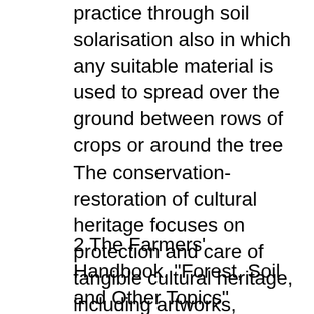practice through soil solarisation also in which any suitable material is used to spread over the ground between rows of crops or around the tree The conservation-restoration of cultural heritage focuses on protection and care of tangible cultural heritage, including artworks, architecture, archaeology, and museum collections. Conservation activities include preventive conservation , examination, documentation , research, treatment, and education. [2]
2 The Farmers' Handbook, "Forest, Soil and Other Topics" Chapter 3 - Soil Conservation and Improvement 3 1 2 3 Different climates have different types